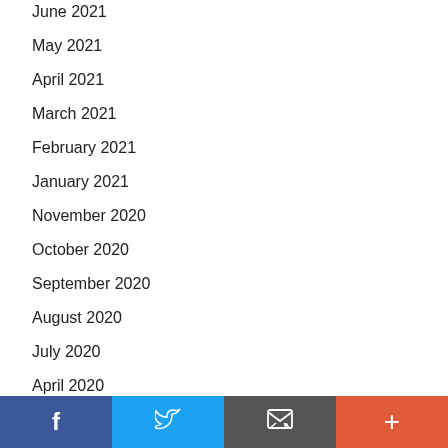June 2021
May 2021
April 2021
March 2021
February 2021
January 2021
November 2020
October 2020
September 2020
August 2020
July 2020
April 2020
March 2020
Social share bar: Facebook, Twitter, Email, More